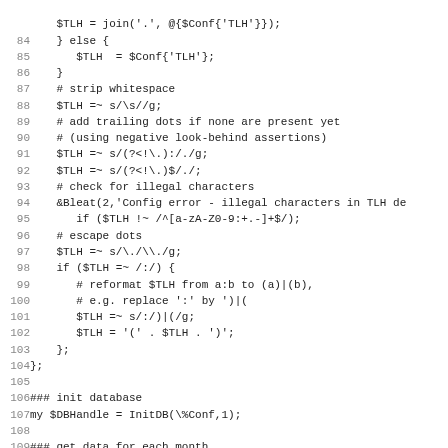Code listing lines 84-115 showing Perl source code for TLH processing and database initialization